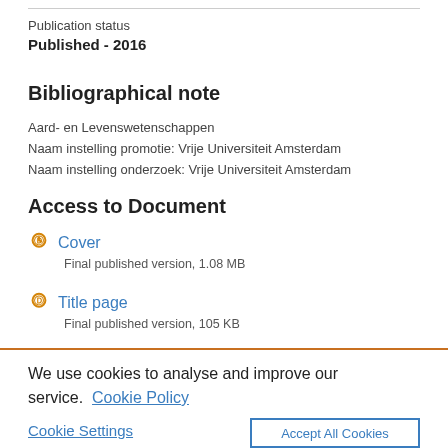Publication status
Published - 2016
Bibliographical note
Aard- en Levenswetenschappen
Naam instelling promotie: Vrije Universiteit Amsterdam
Naam instelling onderzoek: Vrije Universiteit Amsterdam
Access to Document
Cover
Final published version, 1.08 MB
Title page
Final published version, 105 KB
We use cookies to analyse and improve our service. Cookie Policy